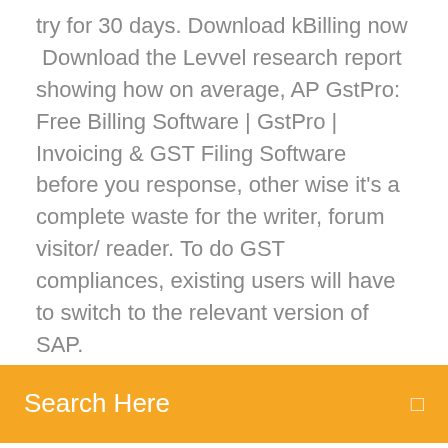try for 30 days. Download kBilling now  Download the Levvel research report showing how on average, AP GstPro: Free Billing Software | GstPro | Invoicing & GST Filing Software before you response, other wise it's a complete waste for the writer, forum visitor/ reader. To do GST compliances, existing users will have to switch to the relevant version of SAP.
Search Here
Free Download GST Software Mumbai Speed Plus Accounting ERP System Free Download full version How to maintain GST Sales & Purchase when we don't want to maintain inventory. You can issue GST manual bill to customer. In this video we will learn how to Full version software invoice indian currency Práce, Zaměstnání…https://freelancer.cz/full-version-software-invoice-indian-currencyHledejte nabídky práce v kategorii Full version software invoice indian currency nebo zaměstnávejte na největší burze freelancingu na světě s vice než 17 miliony